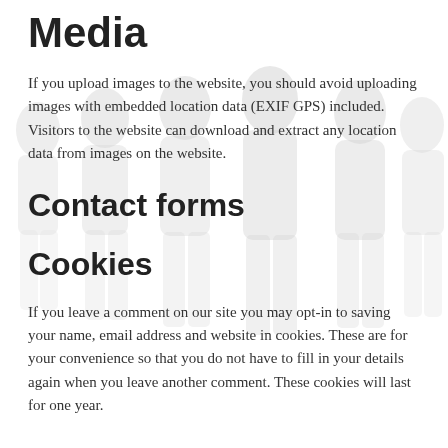Media
If you upload images to the website, you should avoid uploading images with embedded location data (EXIF GPS) included. Visitors to the website can download and extract any location data from images on the website.
Contact forms
Cookies
If you leave a comment on our site you may opt-in to saving your name, email address and website in cookies. These are for your convenience so that you do not have to fill in your details again when you leave another comment. These cookies will last for one year.